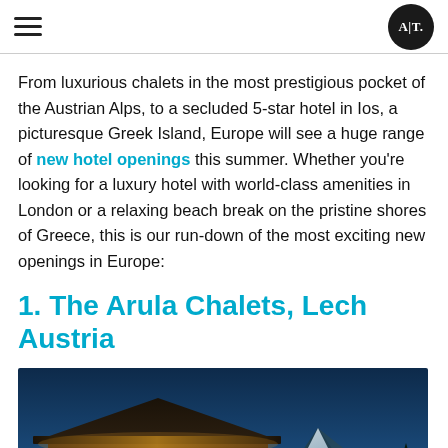AT (logo)
From luxurious chalets in the most prestigious pocket of the Austrian Alps, to a secluded 5-star hotel in Ios, a picturesque Greek Island, Europe will see a huge range of new hotel openings this summer. Whether you're looking for a luxury hotel with world-class amenities in London or a relaxing beach break on the pristine shores of Greece, this is our run-down of the most exciting new openings in Europe:
1. The Arula Chalets, Lech Austria
[Figure (photo): Exterior night/dusk photo of a wooden chalet with warm interior lighting under its eaves, with snow-capped mountains visible in the background against a deep blue sky.]